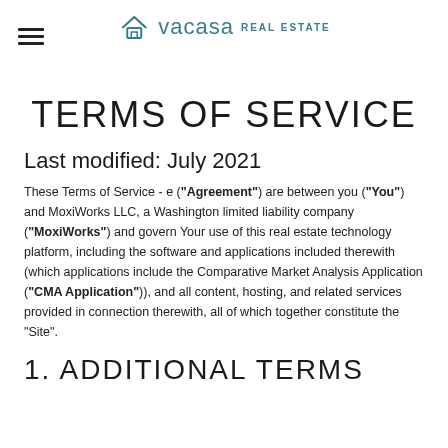vacasa REAL ESTATE
TERMS OF SERVICE
Last modified: July 2021
These Terms of Service - e ("Agreement") are between you ("You") and MoxiWorks LLC, a Washington limited liability company ("MoxiWorks") and govern Your use of this real estate technology platform, including the software and applications included therewith (which applications include the Comparative Market Analysis Application ("CMA Application")), and all content, hosting, and related services provided in connection therewith, all of which together constitute the "Site".
1. ADDITIONAL TERMS